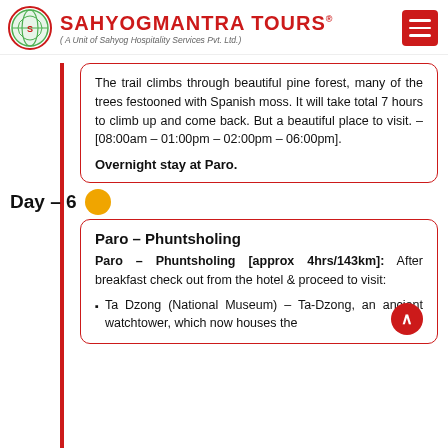SAHYOGMANTRA TOURS ( A Unit of Sahyog Hospitality Services Pvt. Ltd.)
The trail climbs through beautiful pine forest, many of the trees festooned with Spanish moss. It will take total 7 hours to climb up and come back. But a beautiful place to visit. – [08:00am – 01:00pm – 02:00pm – 06:00pm].
Overnight stay at Paro.
Day – 6
Paro – Phuntsholing
Paro – Phuntsholing [approx 4hrs/143km]: After breakfast check out from the hotel & proceed to visit:
Ta Dzong (National Museum) – Ta-Dzong, an ancient watchtower, which now houses the